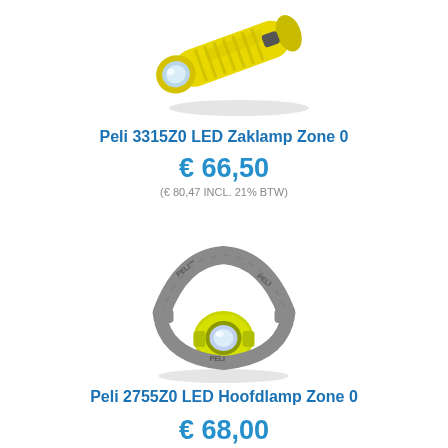[Figure (photo): Yellow Peli 3315Z0 LED flashlight/zaklamp on white background]
Peli 3315Z0 LED Zaklamp Zone 0
€ 66,50
(€ 80,47 INCL. 21% BTW)
[Figure (photo): Peli 2755Z0 LED headlamp/hoofdlamp with gray strap and yellow lens housing on white background]
Peli 2755Z0 LED Hoofdlamp Zone 0
€ 68,00